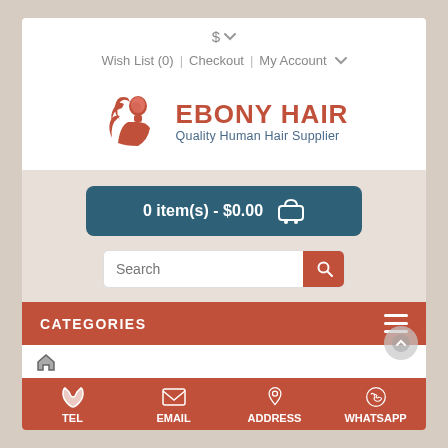$ ▾
Wish List (0)  |  Checkout  |  My Account ▾
[Figure (logo): Ebony Hair logo: stylized woman silhouette in coral/red with flowing hair]
EBONY HAIR
Quality Human Hair Supplier
0 item(s) - $0.00
Search
CATEGORIES
TEL   EMAIL   ADDRESS   WHATSAPP